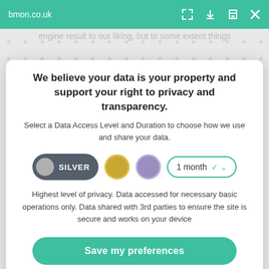bmon.co.uk
engine result to our liking, but to some extent things
enthusiastic amongst us. some new methods allow
We believe your data is your property and support your right to privacy and transparency.
Select a Data Access Level and Duration to choose how we use and share your data.
[Figure (infographic): Privacy options: Silver toggle pill selected, gold circle, purple circle, and a '1 month' duration dropdown with teal border.]
Highest level of privacy. Data accessed for necessary basic operations only. Data shared with 3rd parties to ensure the site is secure and works on your device
Save my preferences
Customize
Privacy policy